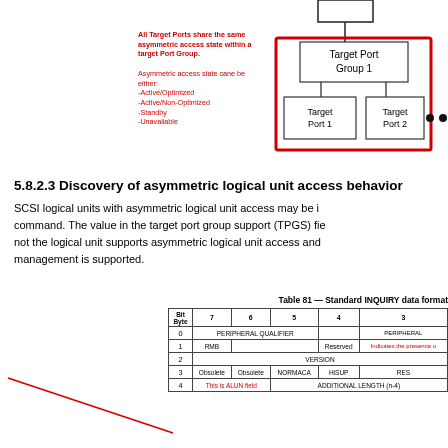[Figure (engineering-diagram): Diagram showing Target Port Group 1 containing Target Port 1 and Target Port 2, with red annotation describing asymmetric access states.]
5.8.2.3 Discovery of asymmetric logical unit access behavior
SCSI logical units with asymmetric logical unit access may be identified using the INQUIRY command. The value in the target port group support (TPGS) field in the standard INQUIRY data indicates whether or not the logical unit supports asymmetric logical unit access and whether explicit access state management is supported.
Table 81 — Standard INQUIRY data format
| Bit Byte | 7 | 6 | 5 | 4 | 3 |
| --- | --- | --- | --- | --- | --- |
| 0 | PERIPHERAL QUALIFIER |  |  |  | PERIPHERAL |
| 1 | RMB |  |  | Reserved | Indicates the presence o |
| 2 |  |  | VERSION |  |  |
| 3 | Obsolete | Obsolete | NORMACA | HiSUP | RES |
| 4 |  | This is ALUN field |  | ADDITIONAL LENGTH (n-4) |  |